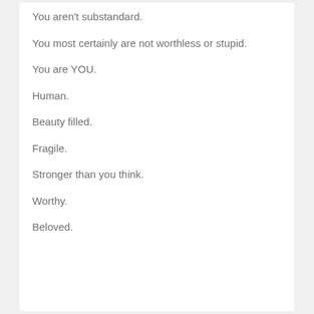You aren't substandard.
You most certainly are not worthless or stupid.
You are YOU.
Human.
Beauty filled.
Fragile.
Stronger than you think.
Worthy.
Beloved.